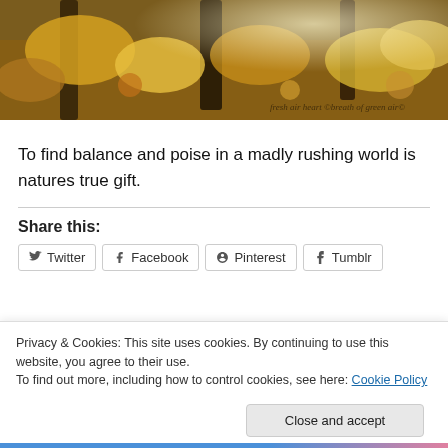[Figure (photo): Autumn forest scene with golden and orange leaves on trees, sunlight filtering through branches. Watermark text in italic script at bottom right reads: 'fresh air heart ©breath of green air©']
To find balance and poise in a madly rushing world is natures true gift.
Share this:
Twitter | Facebook | Pinterest | Tumblr
Privacy & Cookies: This site uses cookies. By continuing to use this website, you agree to their use.
To find out more, including how to control cookies, see here: Cookie Policy
Close and accept